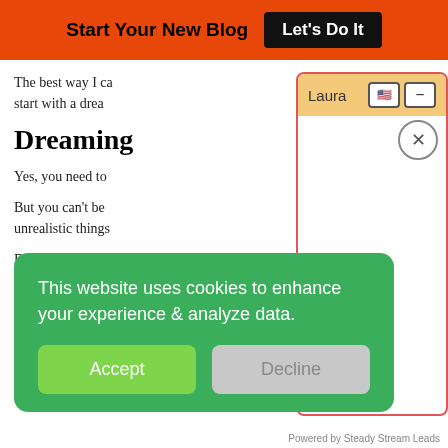Start Your New Blog  Let's Do It
The best way I ca... start with a drea...
Dreaming
Yes, you need to...
But you can't be... unrealistic things...
Do you dream of...
[Figure (screenshot): Chat widget popup with orange header showing name 'Laura', flag and minimize buttons, a close (X) circle button, and an empty white chat body. Widget has red border.]
This website uses cookies to enhance your experience & analyze data.
Accept
Decline
Powered by Steady Stream Leads